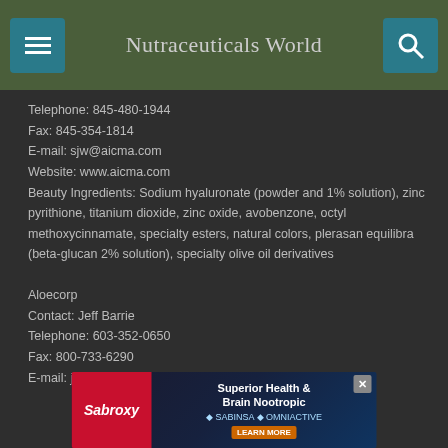Nutraceuticals World
Telephone: 845-480-1944
Fax: 845-354-1814
E-mail: sjw@aicma.com
Website: www.aicma.com
Beauty Ingredients: Sodium hyaluronate (powder and 1% solution), zinc pyrithione, titanium dioxide, zinc oxide, avobenzone, octyl methoxycinnamate, specialty esters, natural colors, plerasan equilibra (beta-glucan 2% solution), specialty olive oil derivatives
Aloecorp
Contact: Jeff Barrie
Telephone: 603-352-0650
Fax: 800-733-6290
E-mail: jeff@aloecorp.com
[Figure (infographic): Advertisement banner for Sabroxy Superior Health & Brain Nootropic with close button]